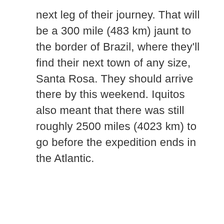next leg of their journey. That will be a 300 mile (483 km) jaunt to the border of Brazil, where they'll find their next town of any size, Santa Rosa. They should arrive there by this weekend. Iquitos also meant that there was still roughly 2500 miles (4023 km) to go before the expedition ends in the Atlantic.